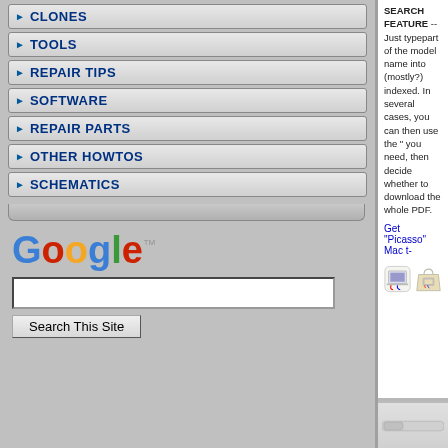CLONES
TOOLS
REPAIR TIPS
SOFTWARE
REPAIR PARTS
OTHER HOWTOS
SCHEMATICS
[Figure (logo): Google logo in multicolor letters with TM symbol]
Search This Site
SEARCH FEATURE -- Just typepart of the model name into (mostly?) indexed. In several cases, you can then use the " you need, then decide whether to download the whole PDF.
Get "Picasso" Mac t-
[Figure (illustration): Two product images: a Mac laptop icon on a white rounded square, and a tote bag with Mac laptop embroidery]